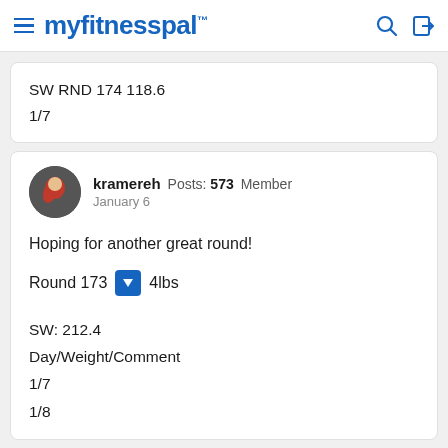myfitnesspal
SW RND 174 118.6
1/7
kramereh  Posts: 573  Member
January 6
Hoping for another great round!
Round 173  ⬇  4lbs
SW: 212.4
Day/Weight/Comment
1/7
1/8